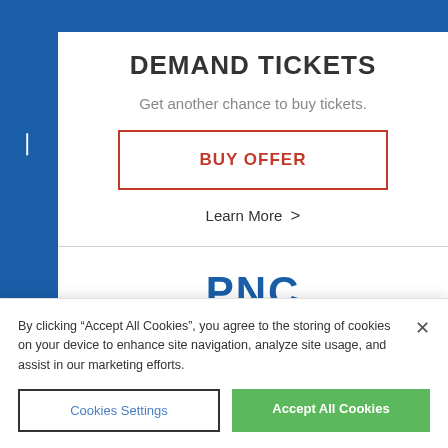[Figure (screenshot): Blue left navigation sidebar with map pin icon and blue header area with partial ticket/demand icon at top]
DEMAND TICKETS
Get another chance to buy tickets.
BUY OFFER
Learn More >
[Figure (logo): Partial PNC logo letters in blue at bottom of page]
By clicking "Accept All Cookies", you agree to the storing of cookies on your device to enhance site navigation, analyze site usage, and assist in our marketing efforts.
Cookies Settings
Accept All Cookies